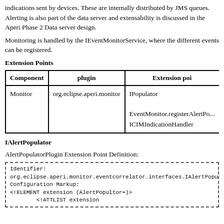indications sent by devices. These are internally distributed by JMS queues. Alerting is also part of the data server and extensability is discussed in the Aperi Phase 2 Data server design.
Monitoring is handled by the IEventMonitorService, where the different events can be registered.
Extension Points
| Component | plugin | Extension point |
| --- | --- | --- |
| Monitor | org.eclipse.aperi.monitor | IPopulator

EventMonitor.registerAlertPo...
ICIMIndicationHandler |
IAlertPopulator
AlertPopulatorPlugin Extension Point Definition:
Identifier:
org.eclipse.aperi.monitor.eventcorrelator.interfaces.IAlertPopulator
Configuration Markup:
<!ELEMENT extension (AlertPopultor+)>
        <!ATTLIST extension